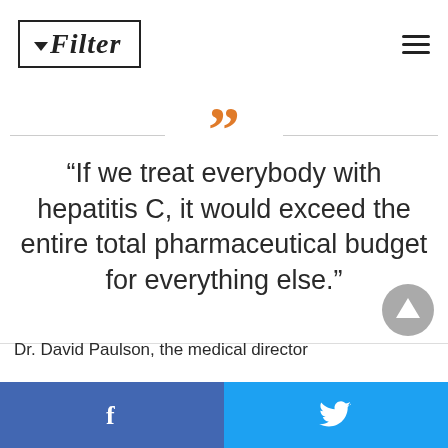Filter
“If we treat everybody with hepatitis C, it would exceed the entire total pharmaceutical budget for everything else.”
Dr. David Paulson, the medical director